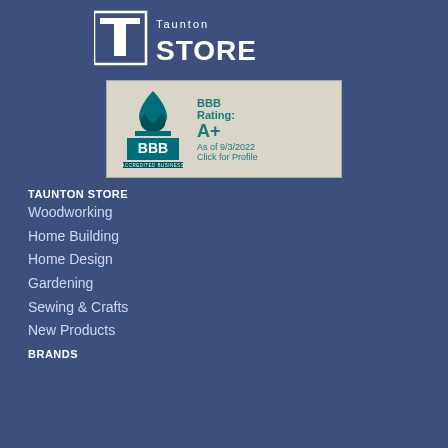[Figure (logo): Taunton Store logo with T symbol and text 'STORE' in white on dark blue background]
[Figure (other): BBB Accredited Business badge showing BBB Rating: A+ as of 9/3/2022, Click for Profile]
TAUNTON STORE
Woodworking
Home Building
Home Design
Gardening
Sewing & Crafts
New Products
BRANDS